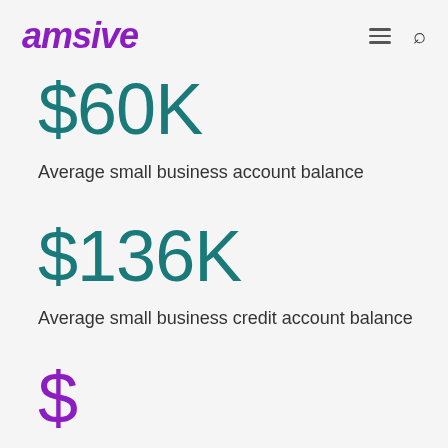amsive
$60K
Average small business account balance
$136K
Average small business credit account balance